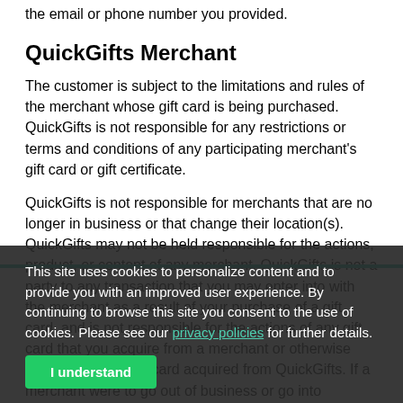the email or phone number you provided.
QuickGifts Merchant
The customer is subject to the limitations and rules of the merchant whose gift card is being purchased. QuickGifts is not responsible for any restrictions or terms and conditions of any participating merchant's gift card or gift certificate.
QuickGifts is not responsible for merchants that are no longer in business or that change their location(s). QuickGifts may not be held responsible for the actions, product, or content of any merchant. QuickGifts is not a party to any transaction that you may enter into with the merchant as a result of your purchase of a gift card, and is not responsible for the actions of any gift card that you acquire from a merchant or otherwise procure using a gift card acquired from QuickGifts. If a merchant were to go out of business or go into bankruptcy prior to your use of all the value on your gift card, you may not have any recourse and exclusive recourse with respect to the unused value of the gift card for that particular merchant is with the merchant in
This site uses cookies to personalize content and to provide you with an improved user experience. By continuing to browse this site you consent to the use of cookies. Please see our privacy policies for further details.